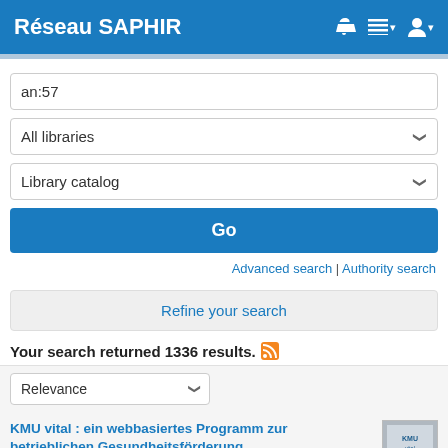Réseau SAPHIR
an:57
All libraries
Library catalog
Go
Advanced search | Authority search
Refine your search
Your search returned 1336 results.
Relevance
KMU vital : ein webbasiertes Programm zur betrieblichen Gesundheitsförderung